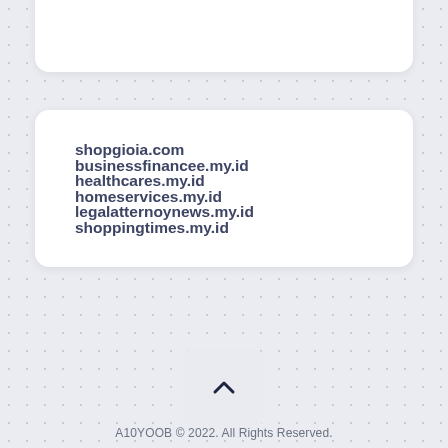shopgioia.com
businessfinancee.my.id
healthcares.my.id
homeservices.my.id
legalatternoynews.my.id
shoppingtimes.my.id
[Figure (other): Scroll-to-top button with upward chevron arrow icon]
A10YOOB © 2022. All Rights Reserved.